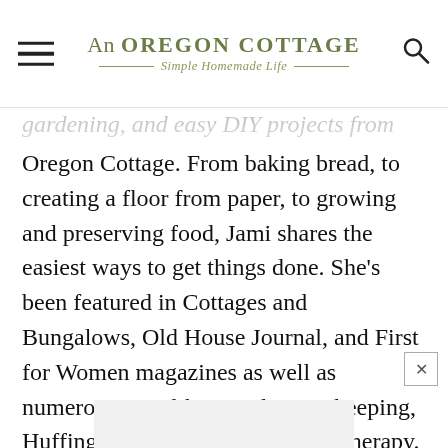An Oregon Cottage — Simple Homemade Life
gardening, and easy DIY projects from An Oregon Cottage. From baking bread, to creating a floor from paper, to growing and preserving food, Jami shares the easiest ways to get things done. She's been featured in Cottages and Bungalows, Old House Journal, and First for Women magazines as well as numerous sites like Good Housekeeping, Huffington Post, and Apartment Therapy.